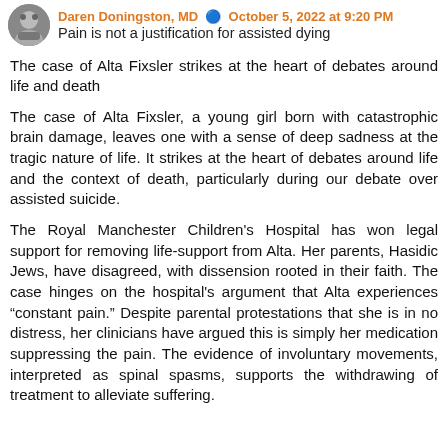Daren Doningston, MD • October 5, 2022 at 9:20 PM
Pain is not a justification for assisted dying
The case of Alta Fixsler strikes at the heart of debates around life and death
The case of Alta Fixsler, a young girl born with catastrophic brain damage, leaves one with a sense of deep sadness at the tragic nature of life. It strikes at the heart of debates around life and the context of death, particularly during our debate over assisted suicide.
The Royal Manchester Children's Hospital has won legal support for removing life-support from Alta. Her parents, Hasidic Jews, have disagreed, with dissension rooted in their faith. The case hinges on the hospital's argument that Alta experiences "constant pain." Despite parental protestations that she is in no distress, her clinicians have argued this is simply her medication suppressing the pain. The evidence of involuntary movements, interpreted as spinal spasms, supports the withdrawing of treatment to alleviate suffering.